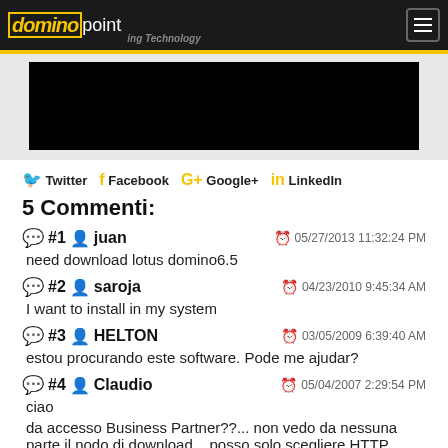DOMINOpoint — Transforming Technology
[Figure (screenshot): Black image/video area]
Twitter   Facebook   Google+   LinkedIn
5 Commenti:
#1 juan — 05/27/2013 11:32:24 PM — need download lotus domino6.5
#2 saroja — 04/23/2010 9:45:34 AM — I want to install in my system
#3 HELTON — 03/05/2009 6:39:40 AM — estou procurando este software. Pode me ajudar?
#4 Claudio — 05/04/2007 2:29:54 PM — ciao
da accesso Business Partner??... non vedo da nessuna parte il nodo di download... posso solo scegliere HTTP